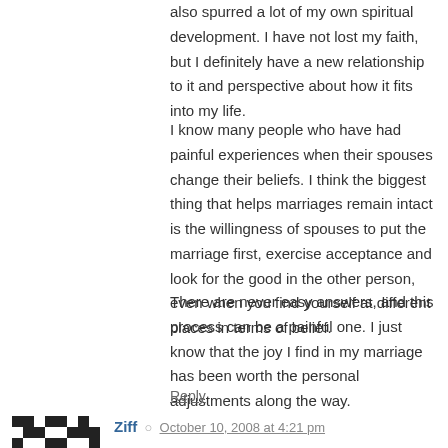also spurred a lot of my own spiritual development. I have not lost my faith, but I definitely have a new relationship to it and perspective about how it fits into my life.
I know many people who have had painful experiences when their spouses change their beliefs. I think the biggest thing that helps marriages remain intact is the willingness of spouses to put the marriage first, exercise acceptance and look for the good in the other person, even when you find yourself at different places in terms of belief.
There are never easy answers, and this process can be a painful one. I just know that the joy I find in my marriage has been worth the personal adjustments along the way.
Reply
Ziff  October 10, 2008 at 4:21 pm
Congrats on officially joining ExII (can I still call you all that?), G!
I think my experience is interesting, or at least...